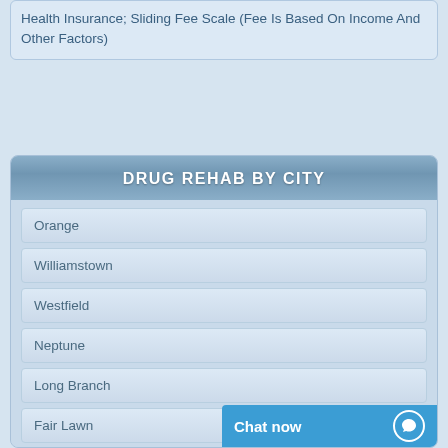Health Insurance; Sliding Fee Scale (Fee Is Based On Income And Other Factors)
DRUG REHAB BY CITY
Orange
Williamstown
Westfield
Neptune
Long Branch
Fair Lawn
Burlington
Egg Harbor Township